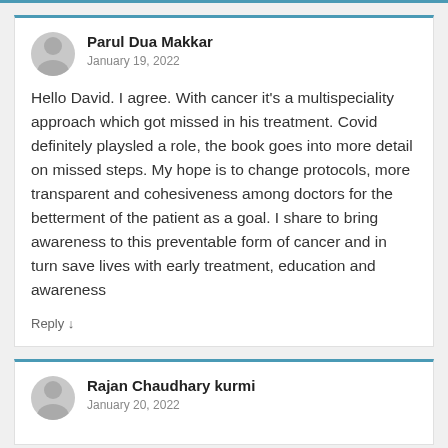Parul Dua Makkar
January 19, 2022
Hello David. I agree. With cancer it's a multispeciality approach which got missed in his treatment. Covid definitely playsled a role, the book goes into more detail on missed steps. My hope is to change protocols, more transparent and cohesiveness among doctors for the betterment of the patient as a goal. I share to bring awareness to this preventable form of cancer and in turn save lives with early treatment, education and awareness
Reply ↓
Rajan Chaudhary kurmi
January 20, 2022